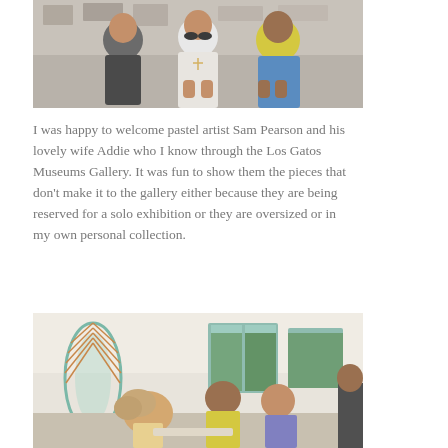[Figure (photo): Three people posing together indoors: a woman on the left in dark clothing, a woman in the center wearing a white dress with a cross necklace, and a man on the right in a yellow shirt and blue pants.]
I was happy to welcome pastel artist Sam Pearson and his lovely wife Addie who I know through the Los Gatos Museums Gallery. It was fun to show them the pieces that don’t make it to the gallery either because they are being reserved for a solo exhibition or they are oversized or in my own personal collection.
[Figure (photo): Group of people in a bright indoor gallery space with artwork on the walls, including a large decorative leaf-shaped piece. People are conversing in the room with windows letting in natural light.]